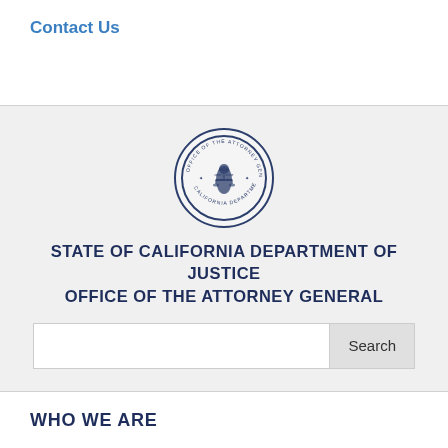Contact Us
[Figure (logo): California Department of Justice Office of the Attorney General circular seal with figure of justice and text around the border]
STATE OF CALIFORNIA DEPARTMENT OF JUSTICE
OFFICE OF THE ATTORNEY GENERAL
WHO WE ARE